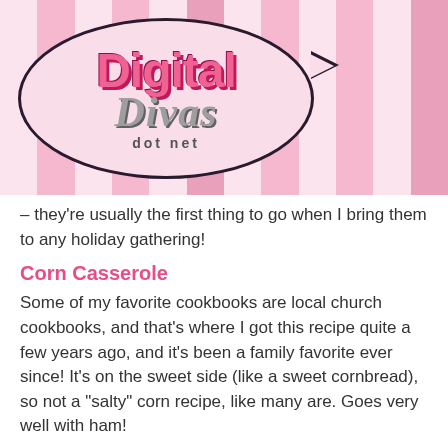[Figure (logo): Digital Divas dot net logo inside a speech bubble on a pink striped background]
– they're usually the first thing to go when I bring them to any holiday gathering!
Corn Casserole
Some of my favorite cookbooks are local church cookbooks, and that's where I got this recipe quite a few years ago, and it's been a family favorite ever since! It's on the sweet side (like a sweet cornbread), so not a "salty" corn recipe, like many are. Goes very well with ham!
Cream Cheese Pound Cake